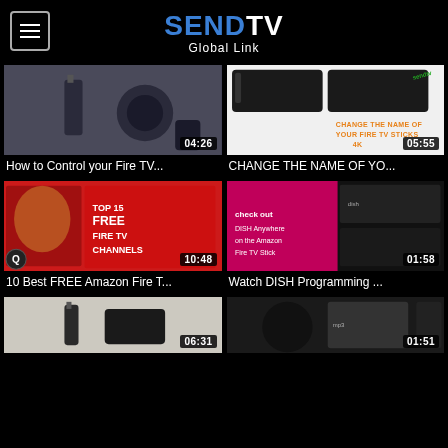SENDTV Global Link
[Figure (screenshot): Video thumbnail: Fire TV stick and Echo Dot devices on a gray surface, duration 04:26]
[Figure (screenshot): Video thumbnail: 'CHANGE THE NAME OF YOUR FIRE TV STICKS 4K' text on white background with Fire TV sticks shown, duration 05:55]
How to Control your Fire TV...
CHANGE THE NAME OF YO...
[Figure (screenshot): Video thumbnail: Man pointing at text 'TOP 15 FREE FIRE TV CHANNELS' on red background, duration 10:48]
[Figure (screenshot): Video thumbnail: DISH Anywhere on Amazon Fire TV Stick promotional image, duration 01:58]
10 Best FREE Amazon Fire T...
Watch DISH Programming ...
[Figure (screenshot): Video thumbnail: Fire TV devices on light background, duration 06:31]
[Figure (screenshot): Video thumbnail: Amazon Fire TV device with accessories, duration 01:51]